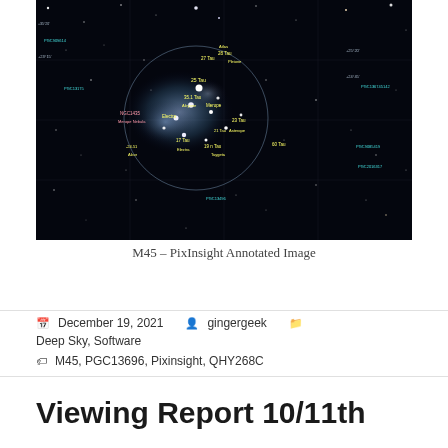[Figure (photo): Annotated astrophotography image of M45 (Pleiades) star cluster taken with PixInsight. Dark background with blue nebulosity and labeled stars and galaxies in yellow and cyan text including NGC1435, Merope, Electra, Maia, Alcyone, Asterope, Atlas, Pleione, PGC13696, PGC13450, and others.]
M45 – PixInsight Annotated Image
December 19, 2021   gingergeek   Deep Sky, Software   M45, PGC13696, Pixinsight, QHY268C
Viewing Report 10/11th